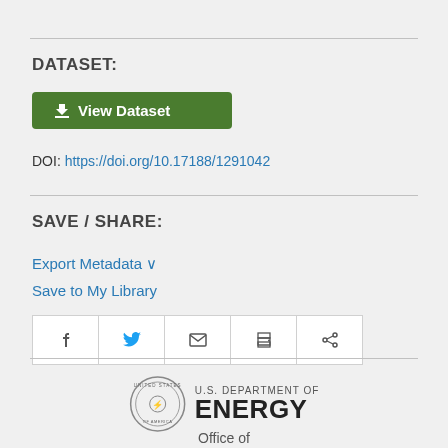DATASET:
View Dataset
DOI: https://doi.org/10.17188/1291042
SAVE / SHARE:
Export Metadata
Save to My Library
[Figure (infographic): Social sharing buttons: Facebook, Twitter, Email, Print, Share]
[Figure (logo): U.S. Department of Energy seal and logotype]
Office of